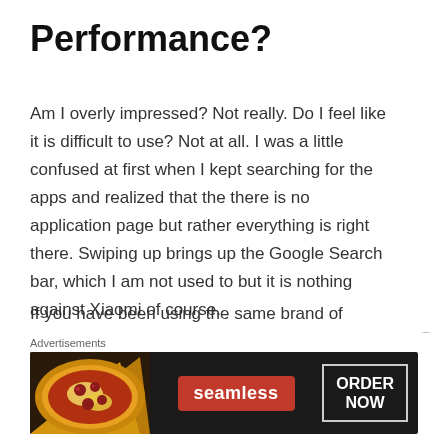Performance?
Am I overly impressed? Not really. Do I feel like it is difficult to use? Not at all. I was a little confused at first when I kept searching for the apps and realized that the there is no application page but rather everything is right there. Swiping up brings up the Google Search bar, which I am not used to but it is nothing against Xiaomi of course.
If you have been using the same brand of phones for the last couple of years, changing brands would require you to get used to how the system is slightly different. It is as expected.
[Figure (infographic): Seamless food ordering advertisement banner with pizza image on left, Seamless red logo in center, and ORDER NOW button on right against dark background]
Advertisements